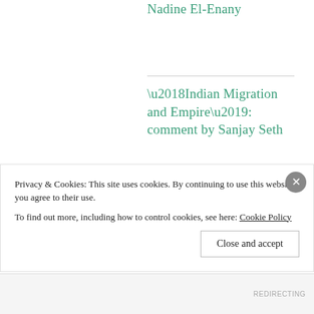Nadine El-Enany
‘Indian Migration and Empire’: comment by Sanjay Seth
‘Indian Migration and Empire’: comment by Bridget Anderson
Privacy & Cookies: This site uses cookies. By continuing to use this website, you agree to their use.
To find out more, including how to control cookies, see here: Cookie Policy
REDIRECTING